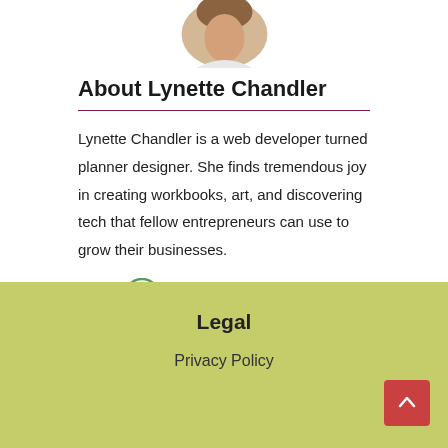[Figure (photo): Circular profile photo of Lynette Chandler, partially visible at top of page]
About Lynette Chandler
Lynette Chandler is a web developer turned planner designer. She finds tremendous joy in creating workbooks, art, and discovering tech that fellow entrepreneurs can use to grow their businesses.
[Figure (illustration): Social media icons: Facebook (f) and Pinterest (circle with P) in green]
Legal
Privacy Policy